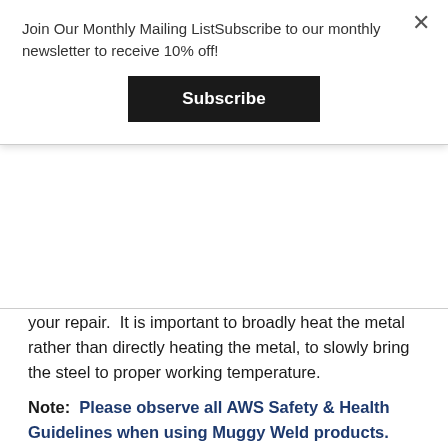Join Our Monthly Mailing ListSubscribe to our monthly newsletter to receive 10% off!
Subscribe
your repair.  It is important to broadly heat the metal rather than directly heating the metal, to slowly bring the steel to proper working temperature.
Note:  Please observe all AWS Safety & Health Guidelines when using Muggy Weld products.
Caution: Do not store near edible items. If you refrigerate SSQ-6, please store in a “chemical only” designated refrigerator.
Related Product(s)